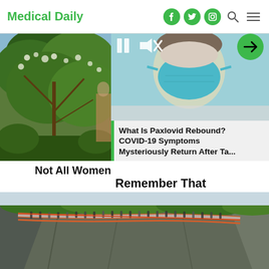Medical Daily
[Figure (photo): Left panel showing trees/nature outdoor scene]
[Figure (photo): Person wearing a blue/teal face mask - COVID related video thumbnail with play controls]
What Is Paxlovid Rebound? COVID-19 Symptoms Mysteriously Return After Ta...
Not All Women Remember That
[Figure (photo): Aerial view of a glass walkway/cliff-side bridge on a steep mountain with people walking on it]